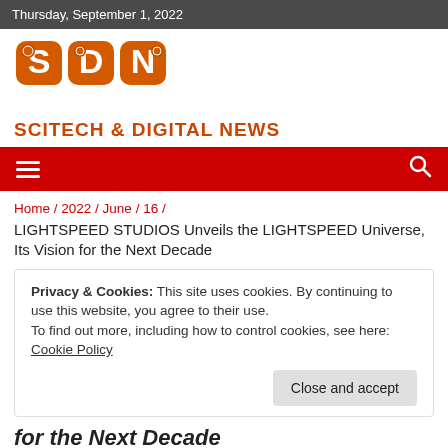Thursday, September 1, 2022
[Figure (logo): SDN - Scitech & Digital News logo in orange]
SCITECH & DIGITAL NEWS
Navigation bar with hamburger menu and search icon
Home / 2022 / June / 16 /
LIGHTSPEED STUDIOS Unveils the LIGHTSPEED Universe, Its Vision for the Next Decade
Privacy & Cookies: This site uses cookies. By continuing to use this website, you agree to their use.
To find out more, including how to control cookies, see here: Cookie Policy
Close and accept
for the Next Decade